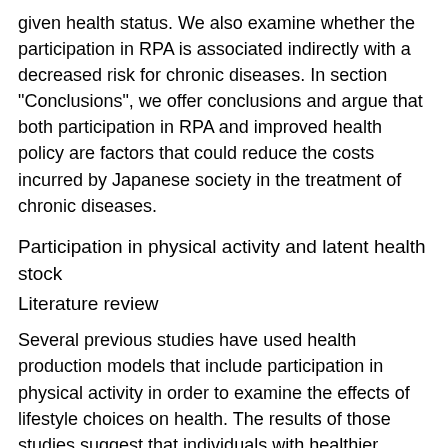given health status. We also examine whether the participation in RPA is associated indirectly with a decreased risk for chronic diseases. In section "Conclusions", we offer conclusions and argue that both participation in RPA and improved health policy are factors that could reduce the costs incurred by Japanese society in the treatment of chronic diseases.
Participation in physical activity and latent health stock
Literature review
Several previous studies have used health production models that include participation in physical activity in order to examine the effects of lifestyle choices on health. The results of those studies suggest that individuals with healthier lifestyles tend to have better self-assessed health [9, 10].
Labor force participation should be considered an important factor in health-relevant behavior when we analyze the effects of lifestyle choices on health. First, the kind of work performed has a decisive impact on